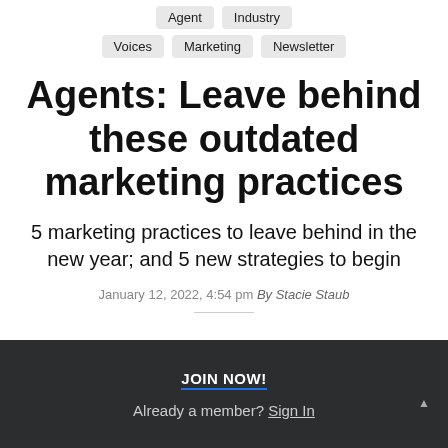Agent  Industry
Voices  Marketing  Newsletter
Agents: Leave behind these outdated marketing practices
5 marketing practices to leave behind in the new year; and 5 new strategies to begin
January 12, 2022, 4:54 pm By Stacie Staub
JOIN NOW!
Already a member? Sign In